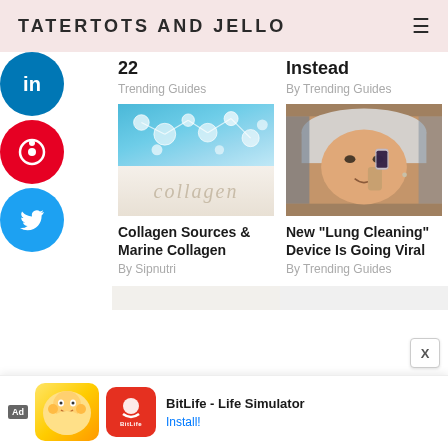TATERTOTS AND JELLO
[Figure (screenshot): Social media sidebar with LinkedIn, Pinterest, and Twitter circular buttons]
22
Instead
By Trending Guides
By Trending Guides
[Figure (photo): Collagen sources image showing molecular bubbles on blue background and collagen text on white background]
[Figure (photo): Woman drinking from a small glass vial, New Lung Cleaning Device article image]
Collagen Sources & Marine Collagen
By Sipnutri
New "Lung Cleaning" Device Is Going Viral
By Trending Guides
[Figure (screenshot): Advertisement for BitLife - Life Simulator app with install button]